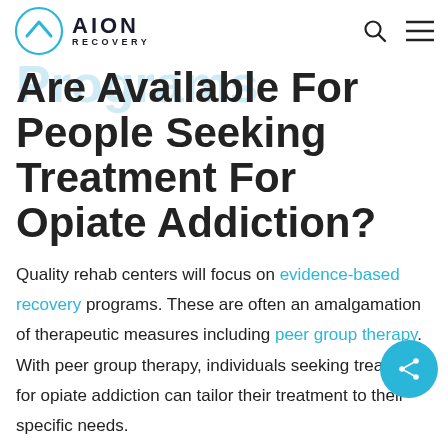Aion Recovery — navigation header with logo, search, and menu icons
Are Available For People Seeking Treatment For Opiate Addiction?
Quality rehab centers will focus on evidence-based recovery programs. These are often an amalgamation of therapeutic measures including peer group therapy. With peer group therapy, individuals seeking treatment for opiate addiction can tailor their treatment to their specific needs.